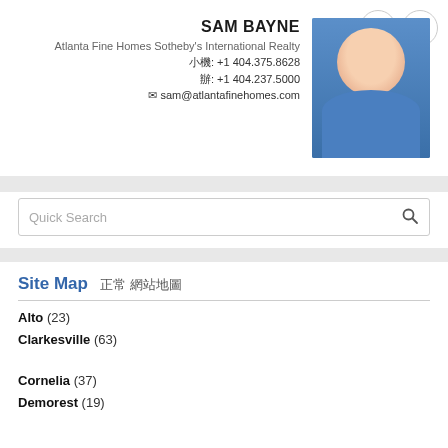[Figure (photo): Headshot of Sam Bayne, smiling man in blue blazer]
SAM BAYNE
Atlanta Fine Homes Sotheby's International Realty
?????: +1 404.375.8628
??: +1 404.237.5000
sam@atlantafinehomes.com
Quick Search
Site Map ?? ??????
Alto (23)
Clarkesville (63)
Cornelia (37)
Demorest (19)